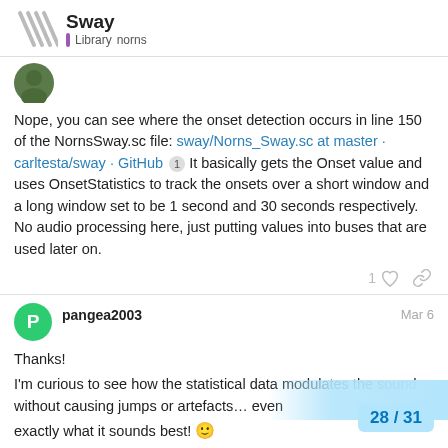Sway — Library norns
[Figure (photo): User avatar photo of a person]
Nope, you can see where the onset detection occurs in line 150 of the NornsSway.sc file: sway/Norns_Sway.sc at master · carltesta/sway · GitHub 1 It basically gets the Onset value and uses OnsetStatistics to track the onsets over a short window and a long window set to be 1 second and 30 seconds respectively. No audio processing here, just putting values into buses that are used later on.
1 (like) (link)
pangea2003  Mar 6
Thanks!
I'm curious to see how the statistical data modulates the sound without causing jumps or artefacts… even exactly what it sounds best!